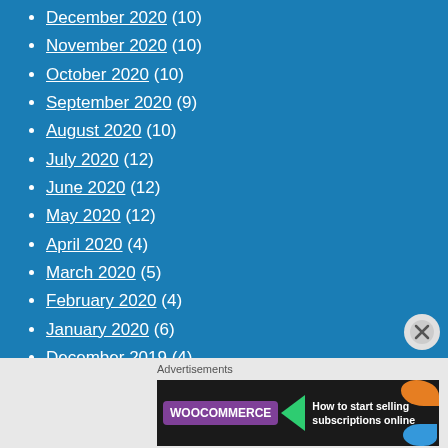December 2020 (10)
November 2020 (10)
October 2020 (10)
September 2020 (9)
August 2020 (10)
July 2020 (12)
June 2020 (12)
May 2020 (12)
April 2020 (4)
March 2020 (5)
February 2020 (4)
January 2020 (6)
December 2019 (4)
Advertisements
[Figure (screenshot): WooCommerce advertisement banner: 'How to start selling subscriptions online']